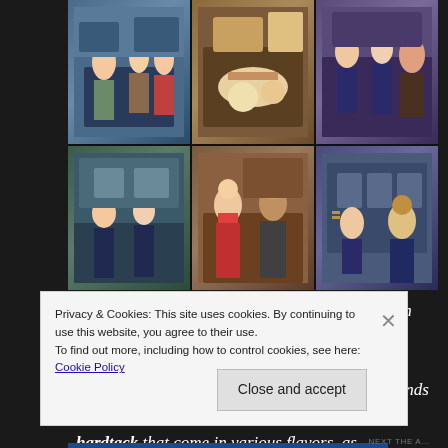[Figure (photo): A collage of six anime screenshots arranged in a 3x2 grid, showing various scenes with animated characters in different settings including a café/restaurant, food items, and groups of uniformed characters.]
Episode 10 – The Chief officers confer, each with their own preferred hot beverage in distinct cups and mugs. Lilium and his brother sip some wine. Lotta has a dessert party, complete with many kinds of decorated cookies. In Pranetta, Jean samples hardtack that come in various flavors, as
Privacy & Cookies: This site uses cookies. By continuing to use this website, you agree to their use.
To find out more, including how to control cookies, see here: Cookie Policy
Close and accept